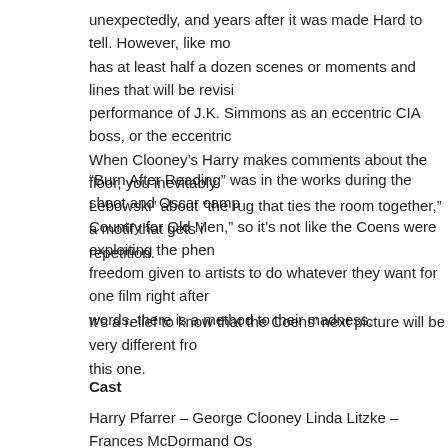unexpectedly, and years after it was made Hard to tell. However, like mo has at least half a dozen scenes or moments and lines that will be revisi performance of J.K. Simmons as an eccentric CIA boss, or the eccentric When Clooney's Harry makes comments about the floor, you inevitably Lebowski" about "the rug that ties the room together," a motif that gets i repetition.
"Burn After Reading" was in the works during the shoot and Oscar camp Country for Old Men," so it's not like the Coens were exploiting the phen freedom given to artists to do whatever they want for one film right after words, there is a method to their madness.
It's a relief to know that the Coens' next picture will be very different fro this one.
Cast
Harry Pfarrer – George Clooney Linda Litzke – Frances McDormand Os Katie Cox – Tilda Swinton Chad Feldheimer – Brad Pitt Ted – Richard Je Elizabeth Marvel CIA Officer – David Rasche CIA Superior – JK Simmon Jeffrey DeMunn